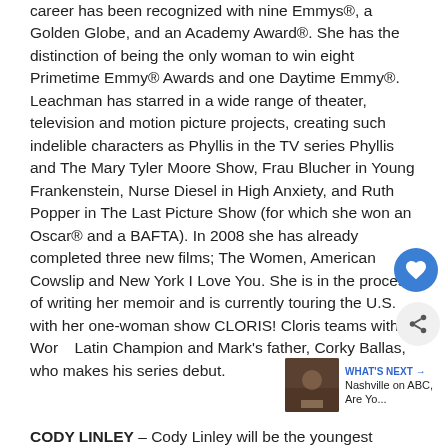career has been recognized with nine Emmys®, a Golden Globe, and an Academy Award®. She has the distinction of being the only woman to win eight Primetime Emmy® Awards and one Daytime Emmy®. Leachman has starred in a wide range of theater, television and motion picture projects, creating such indelible characters as Phyllis in the TV series Phyllis and The Mary Tyler Moore Show, Frau Blucher in Young Frankenstein, Nurse Diesel in High Anxiety, and Ruth Popper in The Last Picture Show (for which she won an Oscar® and a BAFTA). In 2008 she has already completed three new films; The Women, American Cowslip and New York I Love You. She is in the process of writing her memoir and is currently touring the U.S. with her one-woman show CLORIS! Cloris teams with World Latin Champion and Mark's father, Corky Ballas, who makes his series debut.
CODY LINLEY – Cody Linley will be the youngest